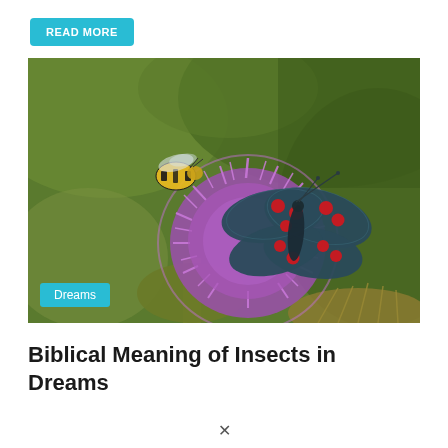READ MORE
[Figure (photo): Close-up macro photograph of a six-spot burnet moth (dark wings with red spots) resting on a purple thistle flower, with a bumblebee visible in the background, against a blurred green background. A cyan 'Dreams' category tag overlays the bottom-left of the image.]
Biblical Meaning of Insects in Dreams